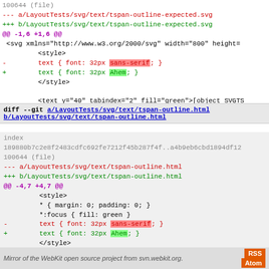100644 (file)
--- a/LayoutTests/svg/text/tspan-outline-expected.svg
+++ b/LayoutTests/svg/text/tspan-outline-expected.svg
@@ -1,6 +1,6 @@
 <svg xmlns="http://www.w3.org/2000/svg" width="800" height=
         <style>
-        text { font: 32px sans-serif; }
+        text { font: 32px Ahem; }
         </style>

         <text y="40" tabindex="2" fill="green">[object SVGTS
diff --git a/LayoutTests/svg/text/tspan-outline.html b/LayoutTests/svg/text/tspan-outline.html
index
189880b7c2e8f2483cdfc692fe7212f45b287f4f..a4b9eb6cbd1894df12
100644 (file)
--- a/LayoutTests/svg/text/tspan-outline.html
+++ b/LayoutTests/svg/text/tspan-outline.html
@@ -4,7 +4,7 @@
         <style>
         * { margin: 0; padding: 0; }
         *:focus { fill: green }
-        text { font: 32px sans-serif; }
+        text { font: 32px Ahem; }
         </style>

         <text y="40"><tspan tabindex="2">Test didn't run</ts
Mirror of the WebKit open source project from svn.webkit.org.